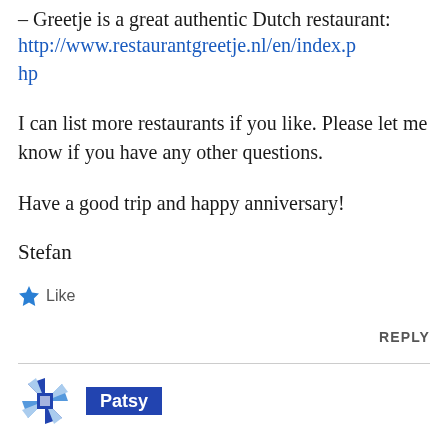– Greetje is a great authentic Dutch restaurant: http://www.restaurantgreetje.nl/en/index.php
I can list more restaurants if you like. Please let me know if you have any other questions.
Have a good trip and happy anniversary!
Stefan
★ Like
REPLY
Patsy